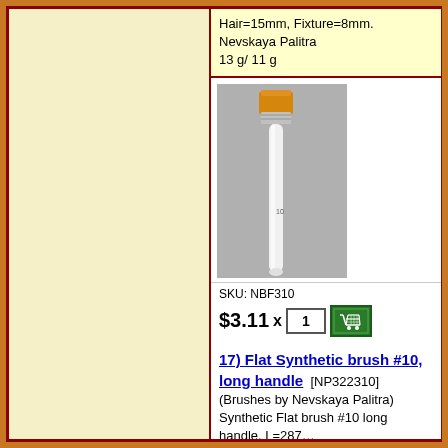Hair=15mm, Fixture=8mm. Nevskaya Palitra 13 g/ 11 g
[Figure (photo): Photo of a flat synthetic artist brush with orange bristles and white handle, shown diagonally against a grey background. Labeled '10' on the handle.]
SKU: NBF310
$3.11 x 1
17) Flat Synthetic brush #10, long handle [NP322310] (Brushes by Nevskaya Palitra) Synthetic Flat brush #10 long handle. L=287...